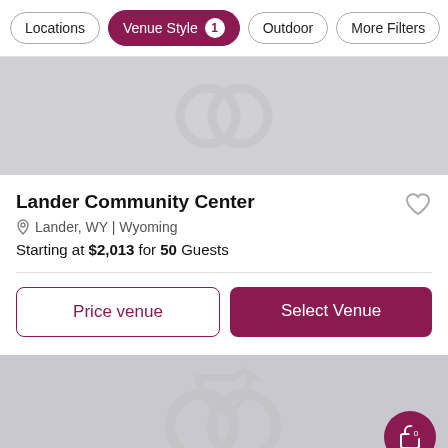Locations | Venue Style 1 | Outdoor | More Filters
[Figure (illustration): Gray placeholder image with interlocked wedding rings watermark (top card)]
Lander Community Center
Lander, WY | Wyoming
Starting at $2,013 for 50 Guests
Price venue
Select Venue
[Figure (illustration): Gray placeholder image with interlocked wedding rings watermark (bottom card)]